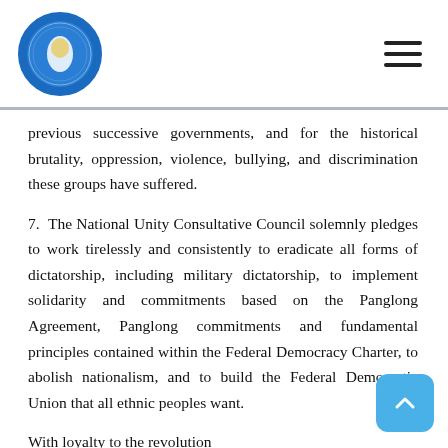National Unity Consultative Council logo and navigation
previous successive governments, and for the historical brutality, oppression, violence, bullying, and discrimination these groups have suffered.
7. The National Unity Consultative Council solemnly pledges to work tirelessly and consistently to eradicate all forms of dictatorship, including military dictatorship, to implement solidarity and commitments based on the Panglong Agreement, Panglong commitments and fundamental principles contained within the Federal Democracy Charter, to abolish nationalism, and to build the Federal Democratic Union that all ethnic peoples want.
With loyalty to the revolution